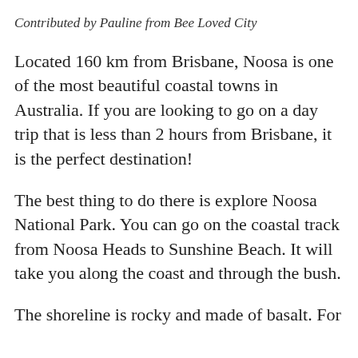Contributed by Pauline from Bee Loved City
Located 160 km from Brisbane, Noosa is one of the most beautiful coastal towns in Australia. If you are looking to go on a day trip that is less than 2 hours from Brisbane, it is the perfect destination!
The best thing to do there is explore Noosa National Park. You can go on the coastal track from Noosa Heads to Sunshine Beach. It will take you along the coast and through the bush.
The shoreline is rocky and made of basalt. For